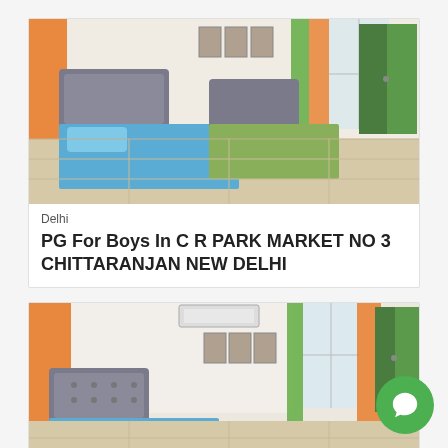[Figure (photo): Interior photo of a PG room with two single beds (blue and green sheets), grey tufted headboards, orange and green curtains, green wardrobe, wooden floor]
Delhi
PG For Boys In C R PARK MARKET NO 3 CHITTARANJAN NEW DELHI
[Figure (photo): Second interior photo of the same PG room showing beds, green and orange curtains, green wardrobe, framed posters on wall, air conditioner]
[Figure (other): Green circular chat/messenger button with white speech bubble icon in bottom-right corner]